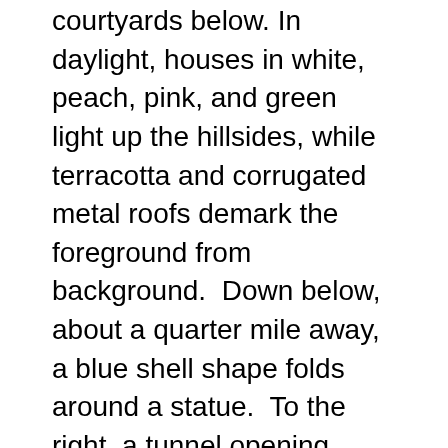courtyards below. In daylight, houses in white, peach, pink, and green light up the hillsides, while terracotta and corrugated metal roofs demark the foreground from background.  Down below, about a quarter mile away, a blue shell shape folds around a statue.  To the right, a tunnel opening spews traffic through the hill to the west.  A couple huge buildings ask for explanation: another school or convent here and there, a smaller church in the distance, the Ecologico Water Museum up the hill, the tower commemorating soldiers of some undefined war.
Our view appears to be a complete view of the Centro Historico, but at the same time, it's confined to the three mountainsides.  Our backs